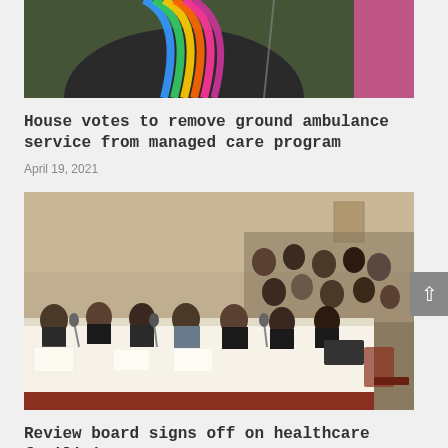[Figure (photo): Partial photo showing a person wearing a colorful rainbow scarf/stole over dark clothing, with a green tufted chair or wall visible in background. Image is cropped showing only torso.]
House votes to remove ground ambulance service from managed care program
April 19, 2021
[Figure (photo): Photo of a formal meeting or hearing room with people seated at a long table with white tablecloth in the foreground, and audience members seated in rows behind them. The room has tan/beige walls and red patterned carpet.]
Review board signs off on healthcare facilities